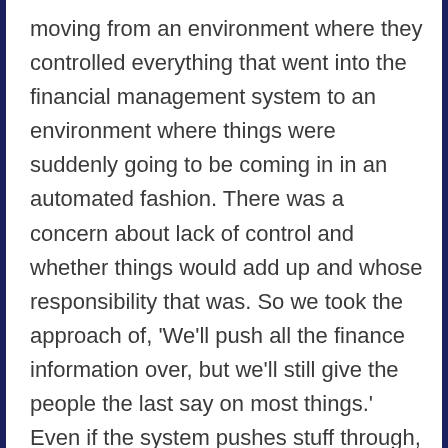moving from an environment where they controlled everything that went into the financial management system to an environment where things were suddenly going to be coming in in an automated fashion. There was a concern about lack of control and whether things would add up and whose responsibility that was. So we took the approach of, 'We'll push all the finance information over, but we'll still give the people the last say on most things.' Even if the system pushes stuff through, we can still change it in Xero and it gets ported back. That has helped in many respects, the invoicing side is